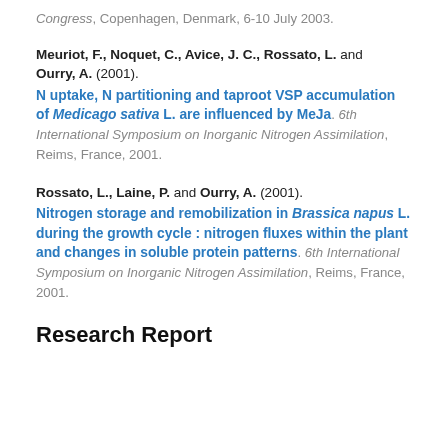Congress, Copenhagen, Denmark, 6-10 July 2003.
Meuriot, F., Noquet, C., Avice, J. C., Rossato, L. and Ourry, A. (2001). N uptake, N partitioning and taproot VSP accumulation of Medicago sativa L. are influenced by MeJa. 6th International Symposium on Inorganic Nitrogen Assimilation, Reims, France, 2001.
Rossato, L., Laine, P. and Ourry, A. (2001). Nitrogen storage and remobilization in Brassica napus L. during the growth cycle : nitrogen fluxes within the plant and changes in soluble protein patterns. 6th International Symposium on Inorganic Nitrogen Assimilation, Reims, France, 2001.
Research Report